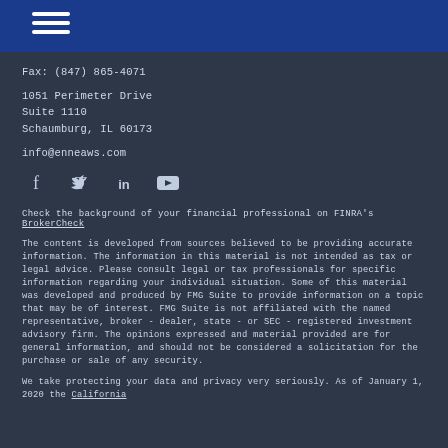Navigation menu icon (hamburger)
Fax: (847) 865-4071
1051 Perimeter Drive
Suite 1110
Schaumburg, IL 60173
info@enneaws.com
[Figure (infographic): Social media icons: Facebook, Twitter, LinkedIn, YouTube]
Check the background of your financial professional on FINRA's BrokerCheck
The content is developed from sources believed to be providing accurate information. The information in this material is not intended as tax or legal advice. Please consult legal or tax professionals for specific information regarding your individual situation. Some of this material was developed and produced by FMG Suite to provide information on a topic that may be of interest. FMG Suite is not affiliated with the named representative, broker - dealer, state - or SEC - registered investment advisory firm. The opinions expressed and material provided are for general information, and should not be considered a solicitation for the purchase or sale of any security.
We take protecting your data and privacy very seriously. As of January 1, 2020 the California